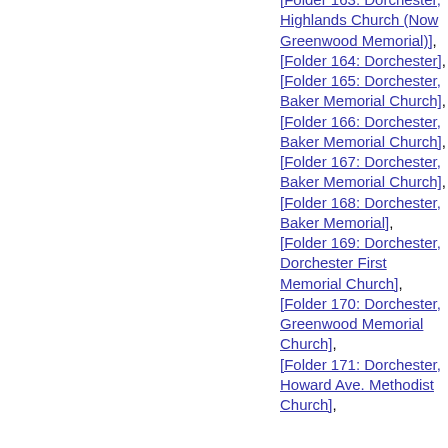[Folder 163: Dorchester, Highlands Church (Now Greenwood Memorial)],
[Folder 164: Dorchester],
[Folder 165: Dorchester, Baker Memorial Church],
[Folder 166: Dorchester, Baker Memorial Church],
[Folder 167: Dorchester, Baker Memorial Church],
[Folder 168: Dorchester, Baker Memorial],
[Folder 169: Dorchester, Dorchester First Memorial Church],
[Folder 170: Dorchester, Greenwood Memorial Church],
[Folder 171: Dorchester, Howard Ave. Methodist Church],